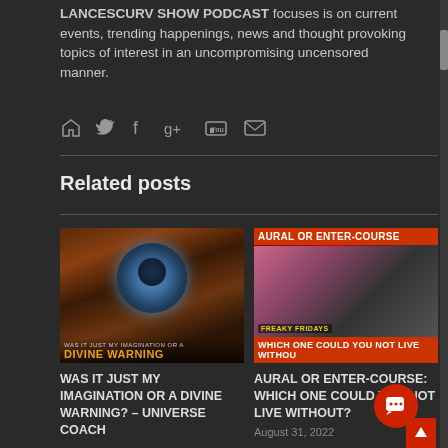LANCESCURV SHOW PODCAST focuses is on current events, trending happenings, news and thought provoking topics of interest in an uncompromising uncensored manner.
[Figure (other): Social media icons: home, twitter, facebook, google+, youtube, email]
Related posts
[Figure (photo): Left card image: surreal eye artwork with blue iris, dark steampunk style. Overlay text: WAS IT JUST MY IMAGINATION OR A / DIVINE WARNING]
WAS IT JUST MY IMAGINATION OR A DIVINE WARNING? – UNIVERSE COACH
[Figure (photo): Right card image: AURAL OR ENTER-COURSE header, woman licking lollipop with man, FREAKY FRIDAYS label, WHICH ONE COULD YOU NOT LIVE WITHOUT text at bottom]
AURAL OR ENTER-COURSE: WHICH ONE COULD YOU NOT LIVE WITHOUT?
August 31, 2022